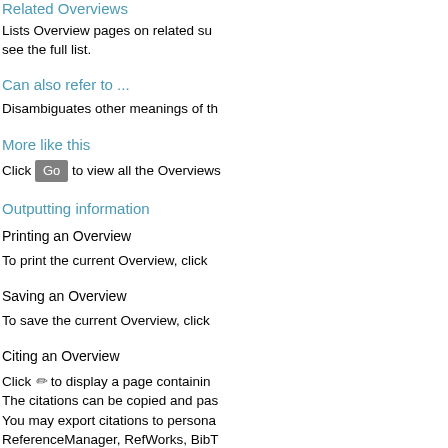Related Overviews
Lists Overview pages on related su... see the full list.
Can also refer to ...
Disambiguates other meanings of th...
More like this
Click Go to view all the Overviews...
Outputting information
Printing an Overview
To print the current Overview, click ...
Saving an Overview
To save the current Overview, click ...
Citing an Overview
Click [pencil] to display a page containin... The citations can be copied and pas...
You may export citations to persona... ReferenceManager, RefWorks, BibT...
Sending an email link